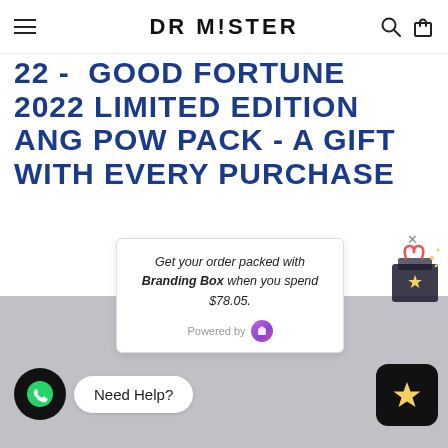DR MISTER
22 - GOOD FORTUNE 2022 LIMITED EDITION ANG POW PACK - A GIFT WITH EVERY PURCHASE
Get your order packed with Branding Box when you spend $78.05.
Powered by
[Figure (screenshot): Gray image area showing lower portion of a product page with WhatsApp help button and a star/review button]
Need Help?